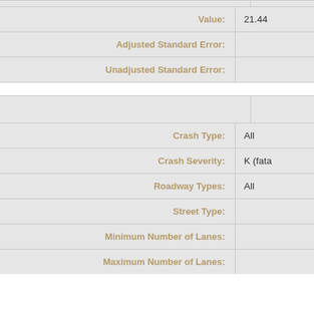| Label | Value |
| --- | --- |
| Value: | 21.44 |
| Adjusted Standard Error: |  |
| Unadjusted Standard Error: |  |
|  |  |
| --- | --- |
| Crash Type: | All |
| Crash Severity: | K (fata... |
| Roadway Types: | All |
| Street Type: |  |
| Minimum Number of Lanes: |  |
| Maximum Number of Lanes: |  |